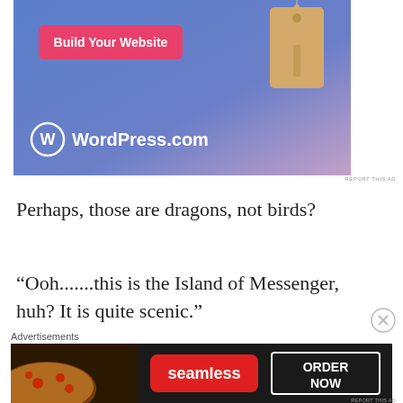[Figure (illustration): WordPress.com advertisement banner with blue-purple gradient background, a price tag hanging from top, a 'Build Your Website' pink button, and WordPress.com logo and text at bottom left.]
REPORT THIS AD
Perhaps, those are dragons, not birds?
“Ooh.......this is the Island of Messenger, huh? It is quite scenic.”
Advertisements
[Figure (illustration): Seamless food delivery advertisement with dark background, pizza slices on left, red Seamless logo in center, and 'ORDER NOW' in a white bordered box on right.]
REPORT THIS AD